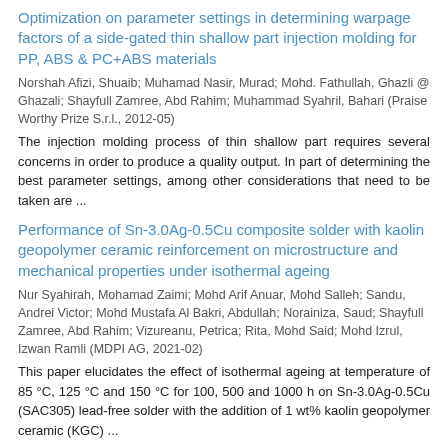Optimization on parameter settings in determining warpage factors of a side-gated thin shallow part injection molding for PP, ABS & PC+ABS materials
Norshah Afizi, Shuaib; Muhamad Nasir, Murad; Mohd. Fathullah, Ghazli @ Ghazali; Shayfull Zamree, Abd Rahim; Muhammad Syahril, Bahari (Praise Worthy Prize S.r.l., 2012-05)
The injection molding process of thin shallow part requires several concerns in order to produce a quality output. In part of determining the best parameter settings, among other considerations that need to be taken are ...
Performance of Sn-3.0Ag-0.5Cu composite solder with kaolin geopolymer ceramic reinforcement on microstructure and mechanical properties under isothermal ageing
Nur Syahirah, Mohamad Zaimi; Mohd Arif Anuar, Mohd Salleh; Sandu, Andrei Victor; Mohd Mustafa Al Bakri, Abdullah; Norainiza, Saud; Shayfull Zamree, Abd Rahim; Vizureanu, Petrica; Rita, Mohd Said; Mohd Izrul, Izwan Ramli (MDPI AG, 2021-02)
This paper elucidates the effect of isothermal ageing at temperature of 85 °C, 125 °C and 150 °C for 100, 500 and 1000 h on Sn-3.0Ag-0.5Cu (SAC305) lead-free solder with the addition of 1 wt% kaolin geopolymer ceramic (KGC) ...